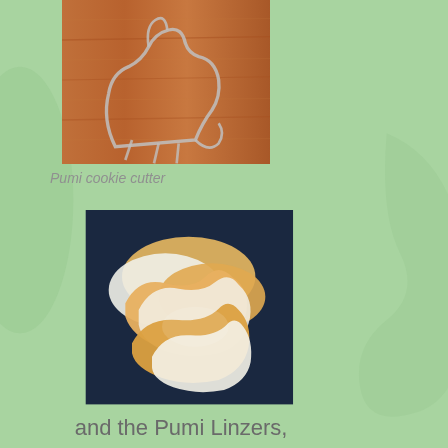[Figure (photo): A Pumi dog-shaped metal cookie cutter on a wooden surface]
Pumi cookie cutter
[Figure (photo): A pile of Pumi-shaped Linzer cookies, some golden-brown and some white, on a dark blue plate]
and the Pumi Linzers, shaped by the Pumi cookie cutter...
[Figure (photo): Partial view of an outdoor scene with trees and a building]